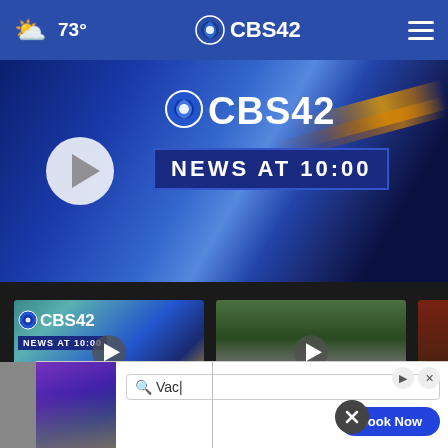73° CBS42 [navigation header with weather and hamburger menu]
[Figure (screenshot): CBS42 News at 10:00 main video thumbnail with play button on blue gradient background]
[Figure (screenshot): CBS42 News @ 10pm thumbnail card 1 with play button, labeled '4 hours ago']
[Figure (screenshot): CBS42 News @ 10pm thumbnail card 2 with play button, labeled '5... ago']
[Figure (screenshot): CBS42 partial thumbnail card 3 (cropped)]
[Figure (screenshot): Advertisement banner with search box showing 'Vac' and Book Now button]
Mo...